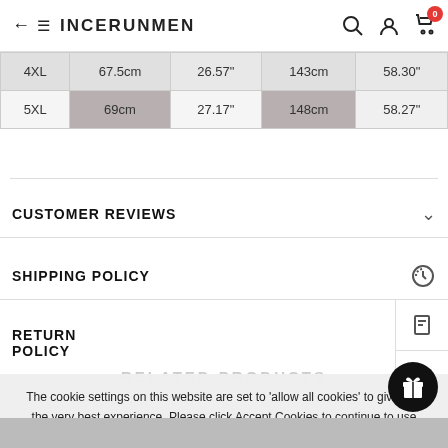INCERUNMEN
| Size | Width | Width (in) | Length | Length (in) |
| --- | --- | --- | --- | --- |
| 4XL | 67.5cm | 26.57" | 143cm | 58.30" |
| 5XL | 69cm | 27.17" | 148cm | 58.27" |
CUSTOMER REVIEWS
SHIPPING POLICY
RETURN POLICY
RELATED PRODUCTS
The cookie settings on this website are set to 'allow all cookies' to give you the very best experience. Please click Accept Cookies to continue to use the site.
PRIVACY POLICY  ACCEPT ✔